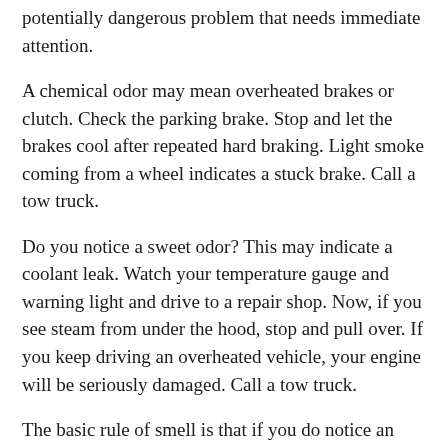potentially dangerous problem that needs immediate attention.
A chemical odor may mean overheated brakes or clutch. Check the parking brake. Stop and let the brakes cool after repeated hard braking. Light smoke coming from a wheel indicates a stuck brake. Call a tow truck.
Do you notice a sweet odor? This may indicate a coolant leak. Watch your temperature gauge and warning light and drive to a repair shop. Now, if you see steam from under the hood, stop and pull over. If you keep driving an overheated vehicle, your engine will be seriously damaged. Call a tow truck.
The basic rule of smell is that if you do notice an unusual odor, get to a mechanic or get one to come to you. A little extra attention to what is coming out of your car or truck